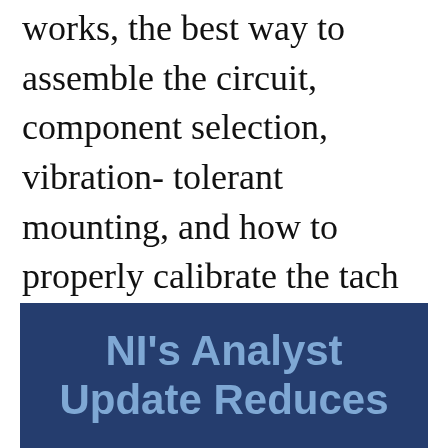works, the best way to assemble the circuit, component selection, vibration- tolerant mounting, and how to properly calibrate the tach to accurately display engine revolutions per minute.
NI's Analyst Update Reduces